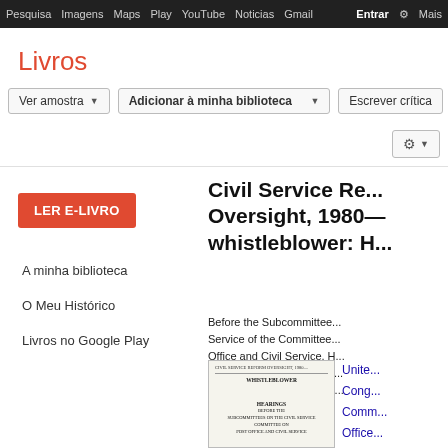Pesquisa  Imagens  Maps  Play  YouTube  Noticias  Gmail  Entrar  ⚙  Mais
Livros
Ver amostra   Adicionar à minha biblioteca   Escrever crítica
LER E-LIVRO
A minha biblioteca
O Meu Histórico
Livros no Google Play
Civil Service Re... Oversight, 1980— whistleblower:
Before the Subcommittee... Service of the Committee... Office and Civil Service, H... Representatives, Ninety-s... Congress, Second Sessio...
[Figure (other): Scanned cover page of the book 'Civil Service Reform Oversight, 1980 - Whistleblower', showing hearings before the subcommittees on the Civil Service, Committee on Post Office and Civil Service]
Unite... Cong... Comm... Office... Servi...